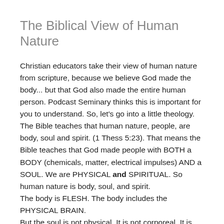The Biblical View of Human Nature
Christian educators take their view of human nature from scripture, because we believe God made the body... but that God also made the entire human person. Podcast Seminary thinks this is important for you to understand. So, let's go into a little theology.
The Bible teaches that human nature, people, are body, soul and spirit. (1 Thess 5:23). That means the Bible teaches that God made people with BOTH a BODY (chemicals, matter, electrical impulses) AND a SOUL. We are PHYSICAL and SPIRITUAL. So human nature is body, soul, and spirit.
The body is FLESH. The body includes the PHYSICAL BRAIN.
But the soul is not physical. It is not corporeal. It is not material. The soul is, if you please, for lack of a more